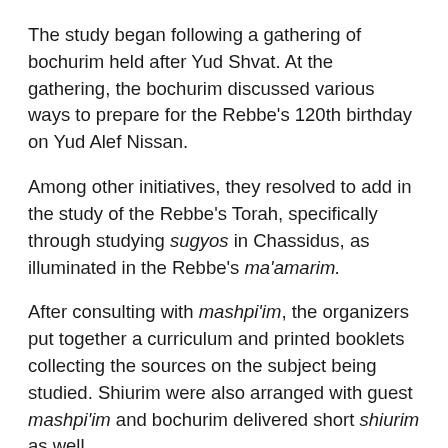The study began following a gathering of bochurim held after Yud Shvat. At the gathering, the bochurim discussed various ways to prepare for the Rebbe's 120th birthday on Yud Alef Nissan.
Among other initiatives, they resolved to add in the study of the Rebbe's Torah, specifically through studying sugyos in Chassidus, as illuminated in the Rebbe's ma'amarim.
After consulting with mashpi'im, the organizers put together a curriculum and printed booklets collecting the sources on the subject being studied. Shiurim were also arranged with guest mashpi'im and bochurim delivered short shiurim as well.
In the previous two weeks, shiurim were delivered by Rabbi Berel Korf, mashpia in Oholei Torah, Rabbi Shmuli Avtzon, mashpia in 770, and Rabbi Yossi